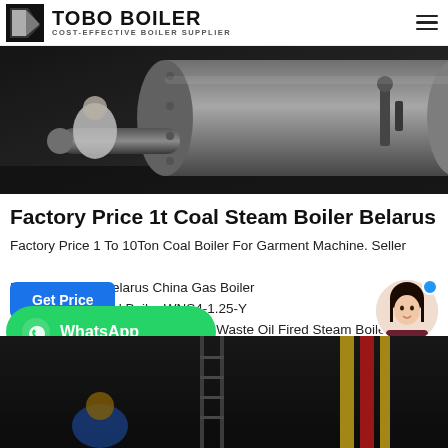TOBO BOILER — COST-EFFECTIVE BOILER SUPPLIER
[Figure (photo): Industrial boiler being inspected or assembled in a factory — large cylindrical steel boiler with pipes and a worker in white protective gear visible]
Factory Price 1t Coal Steam Boiler Belarus
Factory Price 1 To 10Ton Coal Boiler For Garment Machine. Seller Boiler Machine Belarus China Gas Boiler Steam Boiler, Coal Boiler WNS4-1.25-Y 13bar Natural Gas LPG Diesel Oil Waste Oil Fired Steam Boiler f...
[Figure (photo): Second industrial boiler photo showing yellow and red pipes/ladders with workers in blue gear at the bottom of the page]